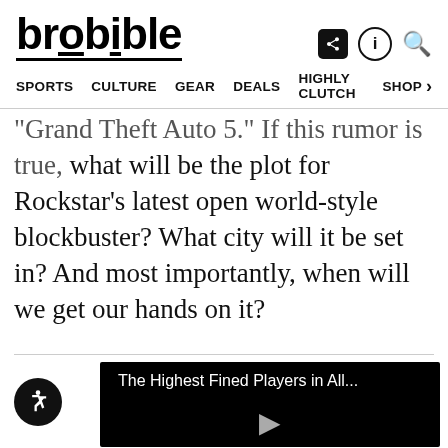brobible
SPORTS  CULTURE  GEAR  DEALS  HIGHLY CLUTCH  SHOP
Grand Theft Auto 5. If this rumor is true, what will be the plot for Rockstar's latest open world-style blockbuster? What city will it be set in? And most importantly, when will we get our hands on it?
[Figure (screenshot): Embedded video player with title 'The Highest Fined Players in All...' on black background with a play button]